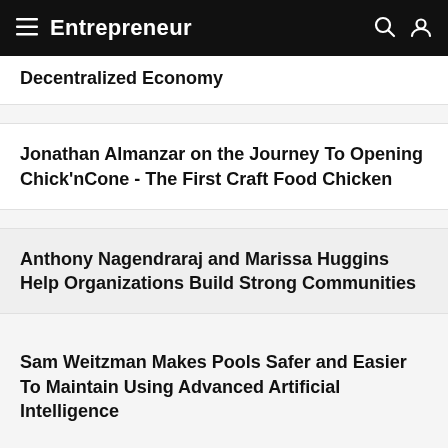Entrepreneur
Decentralized Economy
Jonathan Almanzar on the Journey To Opening Chick'nCone - The First Craft Food Chicken
Anthony Nagendraraj and Marissa Huggins Help Organizations Build Strong Communities
Sam Weitzman Makes Pools Safer and Easier To Maintain Using Advanced Artificial Intelligence